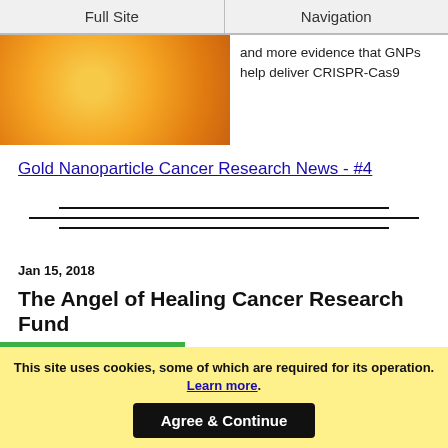Full Site | Navigation
[Figure (photo): Close-up photo of orange/yellow spherical nanoparticles (gold nanoparticles)]
and more evidence that GNPs help deliver CRISPR-Cas9
Gold Nanoparticle Cancer Research News - #4
[Figure (other): Three horizontal divider lines forming a decorative separator]
Jan 15, 2018
The Angel of Healing Cancer Research Fund
[Figure (photo): Green image thumbnail for The Angel of Healing Cancer Research article]
The Angel of Healing Cancer Research
This site uses cookies, some of which are required for its operation. Learn more.
Agree & Continue